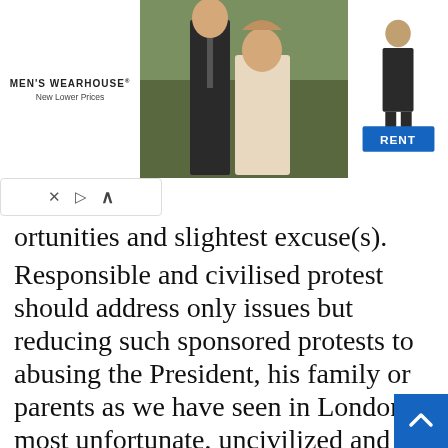[Figure (photo): Men's Wearhouse advertisement banner showing a couple in formal wear, a man in a suit figure, and a blue RENT button. Brand text reads MEN'S WEARHOUSE New Lower Prices.]
ortunities and slightest excuse(s).
Responsible and civilised protest should address only issues but reducing such sponsored protests to abusing the President, his family or parents as we have seen in London is most unfortunate, uncivilized and condemnable. I am sure they wouldn't have done that for Buhari if he is from the South as we have seen severally on matters of their interest and agenda. The real motive and age of the so called protest is not for Nigeria but to